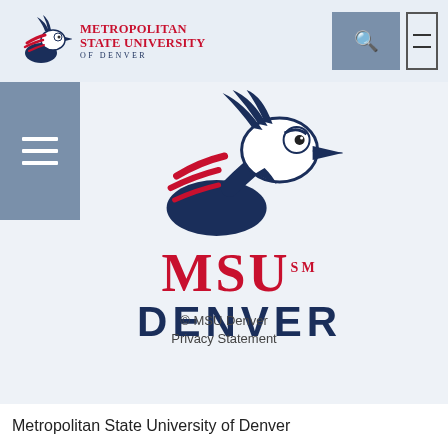Metropolitan State University of Denver
[Figure (logo): MSU Denver roadrunner mascot logo with 'MSU Denver' text - navigation bar version]
[Figure (logo): MSU Denver large roadrunner mascot logo with red MSU and navy DENVER text]
© MSU Denver
Privacy Statement
Metropolitan State University of Denver